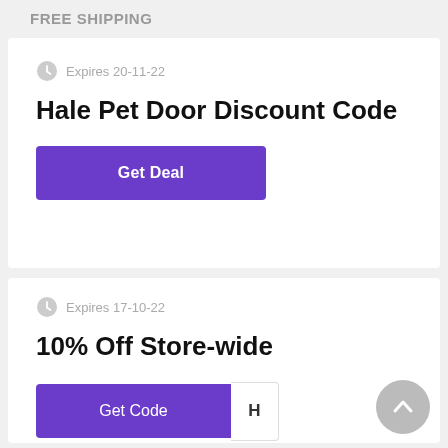FREE SHIPPING
Expires 20-11-22
Hale Pet Door Discount Code
Get Deal
Expires 17-10-22
10% Off Store-wide
Get Code H